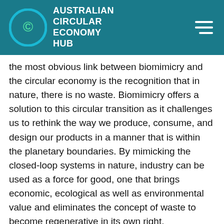AUSTRALIAN CIRCULAR ECONOMY HUB
the most obvious link between biomimicry and the circular economy is the recognition that in nature, there is no waste. Biomimicry offers a solution to this circular transition as it challenges us to rethink the way we produce, consume, and design our products in a manner that is within the planetary boundaries. By mimicking the closed-loop systems in nature, industry can be used as a force for good, one that brings economic, ecological as well as environmental value and eliminates the concept of waste to become regenerative in its own right.
Another learning that nature offers in the hopes to go circular is that we cannot achieve this alone. Just like the need for systems thinking from all different players of the circular economy, biomimicry too requires relevant stakeholders across multidisciplinary sectors to collaborate and innovate